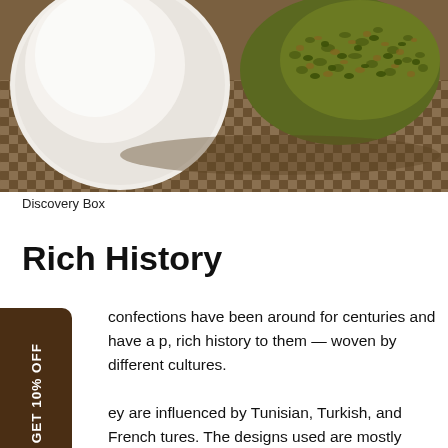[Figure (photo): Close-up photo of Middle Eastern/North African confections — a white round candy and pistachio-coated sweets on a woven basket surface]
Discovery Box
Rich History
confections have been around for centuries and have a p, rich history to them — woven by different cultures.

ey are influenced by Tunisian, Turkish, and French tures. The designs used are mostly influenced by the nch while the treats themselves are Tunisian in nature; stuffing techniques used are Spanish and the use of